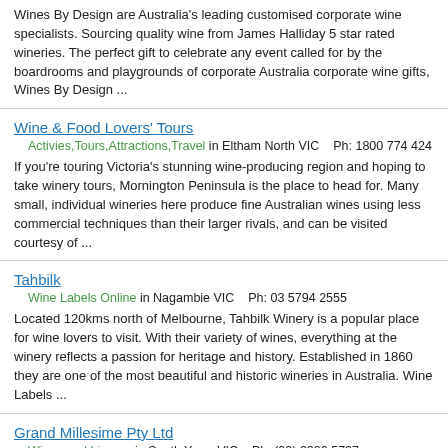Wines By Design are Australia's leading customised corporate wine specialists. Sourcing quality wine from James Halliday 5 star rated wineries. The perfect gift to celebrate any event called for by the boardrooms and playgrounds of corporate Australia corporate wine gifts, Wines By Design ...
Wine & Food Lovers' Tours
Activies,Tours,Attractions,Travel in Eltham North VIC    Ph: 1800 774 424
If you're touring Victoria's stunning wine-producing region and hoping to take winery tours, Mornington Peninsula is the place to head for. Many small, individual wineries here produce fine Australian wines using less commercial techniques than their larger rivals, and can be visited courtesy of ...
Tahbilk
Wine Labels Online in Nagambie VIC    Ph: 03 5794 2555
Located 120kms north of Melbourne, Tahbilk Winery is a popular place for wine lovers to visit. With their variety of wines, everything at the winery reflects a passion for heritage and history. Established in 1860 they are one of the most beautiful and historic wineries in Australia. Wine Labels ...
Grand Millesime Pty Ltd
Wines and Liquors in South Yarra VIC    Ph: (03) 9326 5737
. Bottle shops, Alcoholic Beverages, Liquor Wholesale and Manufacturing, Wine Shops, Cellars, Liquor shops, Wines and Liquors, Grand Millesime Pty Ltd, South Yarra, VIC ...